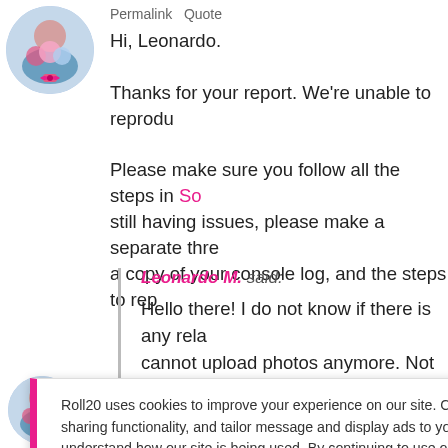[Figure (photo): Round avatar photo of a person holding flowers with pink bow, top left]
Permalink   Quote
Hi, Leonardo.

Thanks for your report. We're unable to reprodu...

Please make sure you follow all the steps in So... still having issues, please make a separate thre... a copy of your console log, and the steps to rep...
Leonardo M. said:

Hello there! I do not know if there is any rela... cannot upload photos anymore. Not even ch... your attention.
Roll20 uses cookies to improve your experience on our site. Cookies enable you to enjoy certain features, social sharing functionality, and tailor message and display ads to your interests on our site and others. They also help us understand how our site is being used. By continuing to use our site, you consent to our use of cookies. Update your cookie preferences here.
[Figure (photo): Round avatar photo of a person holding flowers with pink bow, bottom left]
Permalink   Quote
This has been fixed in a hotfix about 10 minutes...